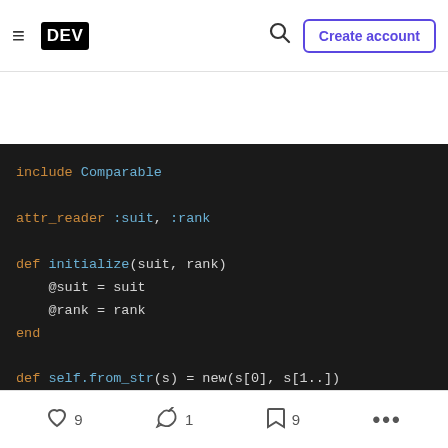DEV | Create account
[Figure (screenshot): Dark-themed code editor showing Ruby code with syntax highlighting. Code includes: include Comparable, attr_reader :suit, :rank, def initialize(suit, rank) with @suit = suit and @rank = rank, end, def self.from_str(s) = new(s[0], s[1..]), def to_s() = "#{@suit}#{@rank}", def <=>(other) = precedence <=> other.precede]
9 likes  1 unicorn  9 bookmarks  ...